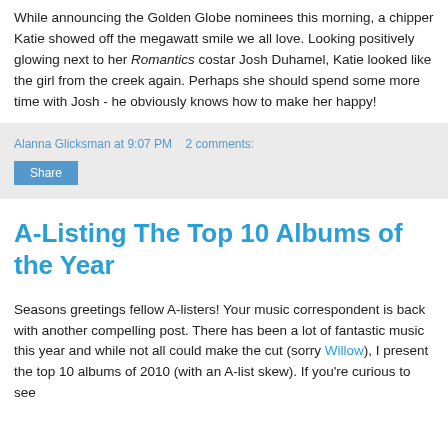While announcing the Golden Globe nominees this morning, a chipper Katie showed off the megawatt smile we all love. Looking positively glowing next to her Romantics costar Josh Duhamel, Katie looked like the girl from the creek again. Perhaps she should spend some more time with Josh - he obviously knows how to make her happy!
Alanna Glicksman at 9:07 PM   2 comments:
Share
A-Listing The Top 10 Albums of the Year
Seasons greetings fellow A-listers! Your music correspondent is back with another compelling post. There has been a lot of fantastic music this year and while not all could make the cut (sorry Willow), I present the top 10 albums of 2010 (with an A-list skew). If you're curious to see